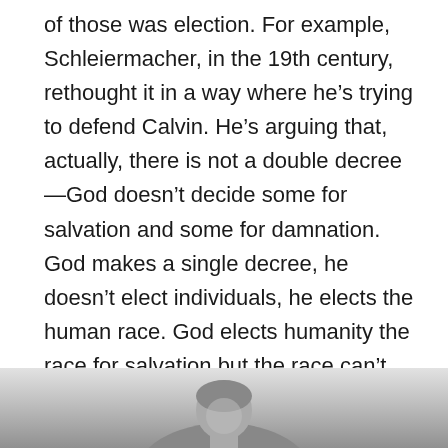of those was election. For example, Schleiermacher, in the 19th century, rethought it in a way where he's trying to defend Calvin. He's arguing that, actually, there is not a double decree—God doesn't decide some for salvation and some for damnation. God makes a single decree, he doesn't elect individuals, he elects the human race. God elects humanity the race for salvation but the race can't experience that salvation unless all the individuals that composite it, experience that salvation. So he ends up arguing for universalism but a different account of election.
[Figure (photo): Black and white photograph of a person, partially visible at the bottom of the page]